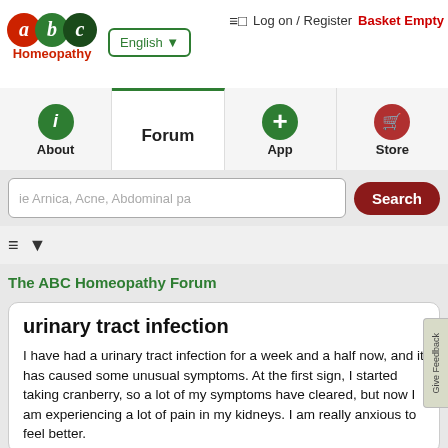[Figure (logo): ABC Homeopathy logo with colored letter circles (red a, green b, dark green c) and 'Homeopathy' text below in red]
≡□   Log on / Register   Basket Empty
English ▼
[Figure (screenshot): Navigation tabs: About (green circle with i), Forum (active tab with green top border), App (green circle with +), Store (red circle with basket icon)]
ie Arnica, Acne, Abdominal pa
Search
The ABC Homeopathy Forum
urinary tract infection
I have had a urinary tract infection for a week and a half now, and it has caused some unusual symptoms. At the first sign, I started taking cranberry, so a lot of my symptoms have cleared, but now I am experiencing a lot of pain in my kidneys. I am really anxious to feel better.